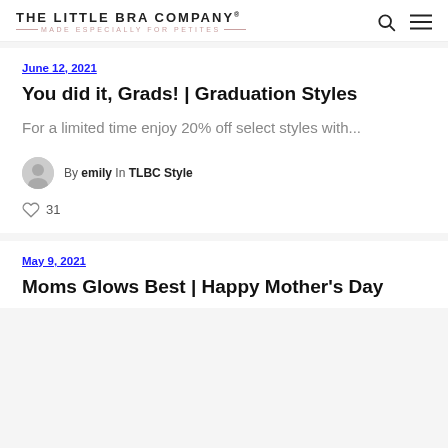THE LITTLE BRA COMPANY — MADE ESPECIALLY FOR PETITES
June 12, 2021
You did it, Grads! | Graduation Styles
For a limited time enjoy 20% off select styles with...
By emily In TLBC Style
31
May 9, 2021
Moms Glows Best | Happy Mother's Day